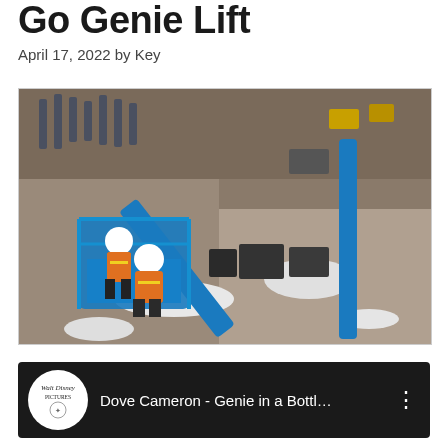Go Genie Lift
April 17, 2022 by Key
[Figure (photo): Aerial overhead photograph of two workers in orange high-visibility vests and white hard hats standing in the basket of a bright blue Genie boom lift. The lift arm extends diagonally across a construction/industrial yard with snow patches on the ground.]
[Figure (screenshot): YouTube video bar with black background showing Walt Disney Pictures logo on a white circle and text 'Dove Cameron - Genie in a Bottl…' with a three-dot menu icon on the right.]